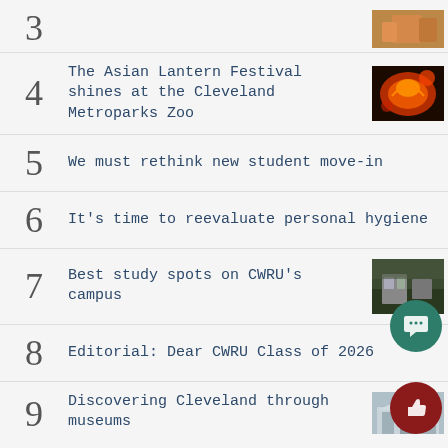3 [partial, cropped at top]
4 The Asian Lantern Festival shines at the Cleveland Metroparks Zoo
5 We must rethink new student move-in
6 It's time to reevaluate personal hygiene
7 Best study spots on CWRU's campus
8 Editorial: Dear CWRU Class of 2026
9 Discovering Cleveland through museums